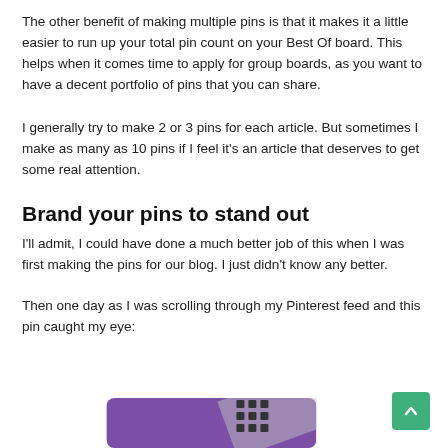The other benefit of making multiple pins is that it makes it a little easier to run up your total pin count on your Best Of board. This helps when it comes time to apply for group boards, as you want to have a decent portfolio of pins that you can share.
I generally try to make 2 or 3 pins for each article. But sometimes I make as many as 10 pins if I feel it's an article that deserves to get some real attention.
Brand your pins to stand out
I'll admit, I could have done a much better job of this when I was first making the pins for our blog. I just didn't know any better.
Then one day as I was scrolling through my Pinterest feed and this pin caught my eye:
[Figure (photo): Partial view of a Pinterest pin image with purple background and laptop keyboard visible, cropped at the bottom of the page]